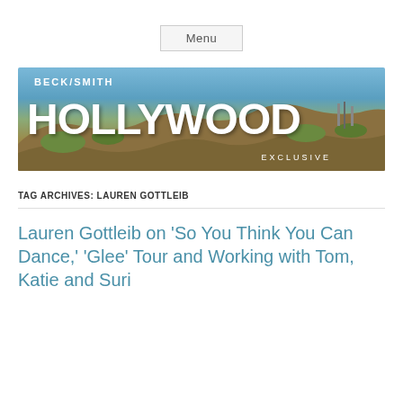Menu
[Figure (illustration): Beck/Smith Hollywood Exclusive banner image showing the famous Hollywood sign on a hillside with blue sky background]
TAG ARCHIVES: LAUREN GOTTLEIB
Lauren Gottleib on ‘So You Think You Can Dance,’ ‘Glee’ Tour and Working with Tom, Katie and Suri